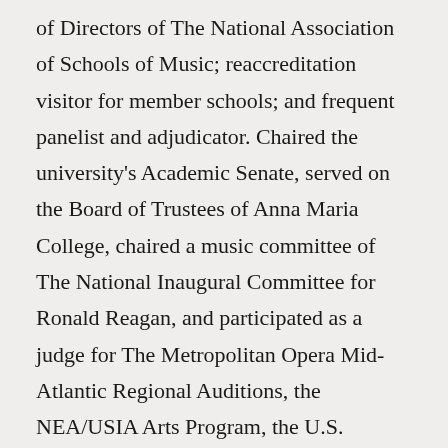of Directors of The National Association of Schools of Music; reaccreditation visitor for member schools; and frequent panelist and adjudicator. Chaired the university's Academic Senate, served on the Board of Trustees of Anna Maria College, chaired a music committee of The National Inaugural Committee for Ronald Reagan, and participated as a judge for The Metropolitan Opera Mid-Atlantic Regional Auditions, the NEA/USIA Arts Program, the U.S. Department of Education Jacob Javits Fellowship Program, and Fellowships for Teachers of the Arts at the Kennedy Center. Founder and former general manager of the Summer Opera Theatre Company, a professional and national company independent from, but in residence at, The Catholic University of America. Currently serves as summer opera's artistic director